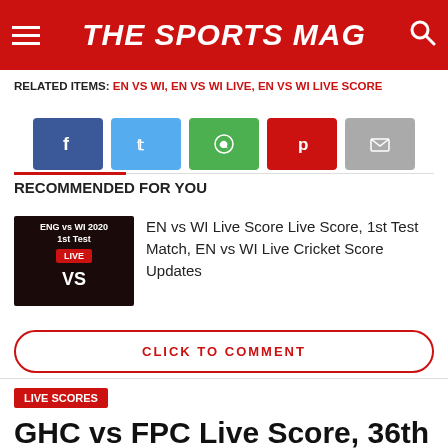THE SPORTS MAG
RELATED ITEMS: EN VS WI, EN VS WI LIVE, EN VS WI LIVE SCORE
[Figure (other): Social share buttons: Facebook, Twitter, WhatsApp, Pinterest, Email]
RECOMMENDED FOR YOU
[Figure (other): Thumbnail image for ENG vs WI 2020, 1st Test, LIVE]
EN vs WI Live Score Live Score, 1st Test Match, EN vs WI Live Cricket Score Updates
CLICK TO COMMENT
LIVE SCORES
GHC vs FPC Live Score, 36th Match, GHC vs FPC Cricket